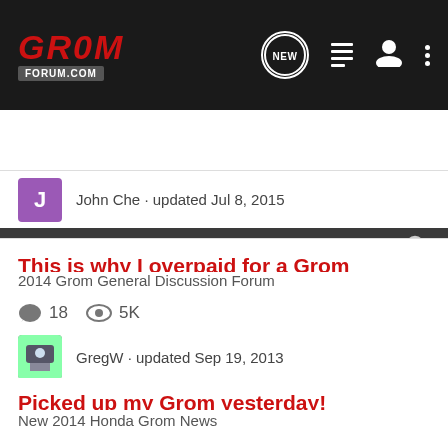Grom Forum.com - NEW
Search Community
John Che · updated Jul 8, 2015
This is why I overpaid for a Grom
2014 Grom General Discussion Forum
18 comments, 5K views
GregW · updated Sep 19, 2013
Picked up my Grom yesterday!
New 2014 Honda Grom News
16 comments, 4K views
Marcuscc · updated Aug 31, 2013